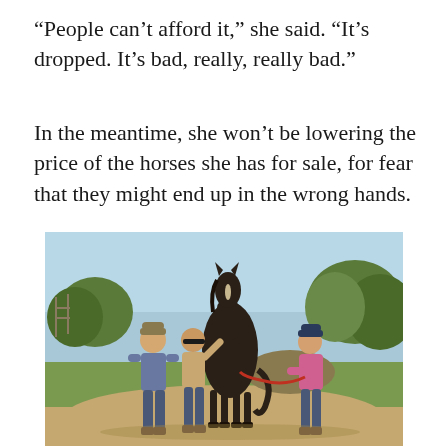“People can’t afford it,” she said. “It’s dropped. It’s bad, really, really bad.”
In the meantime, she won’t be lowering the price of the horses she has for sale, for fear that they might end up in the wrong hands.
[Figure (photo): Three people standing outdoors with a dark horse. Two women and a man posing on a dirt area with green grass and trees in the background. The person on the right holds a red lead rope attached to the horse.]